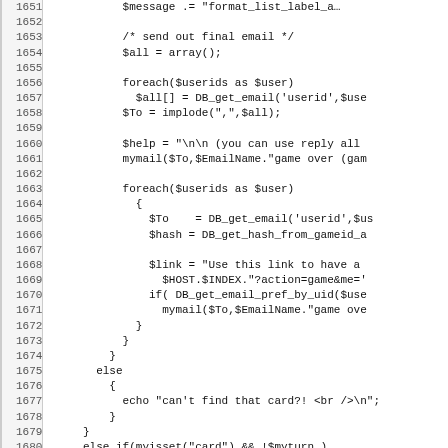Source code lines 1651-1683 showing PHP game logic including sending final email, foreach loops, DB_get_email, implode, mymail calls, else if myisset card check.